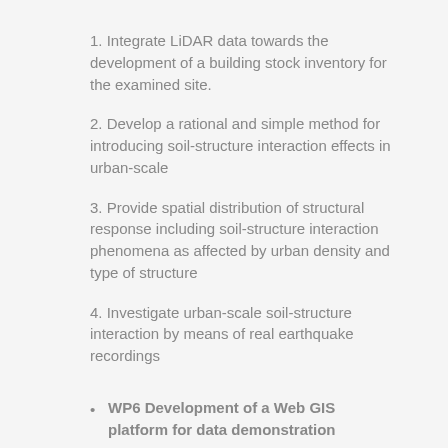1. Integrate LiDAR data towards the development of a building stock inventory for the examined site.
2. Develop a rational and simple method for introducing soil-structure interaction effects in urban-scale
3. Provide spatial distribution of structural response including soil-structure interaction phenomena as affected by urban density and type of structure
4. Investigate urban-scale soil-structure interaction by means of real earthquake recordings
WP6 Development of a Web GIS platform for data demonstration
Objectives